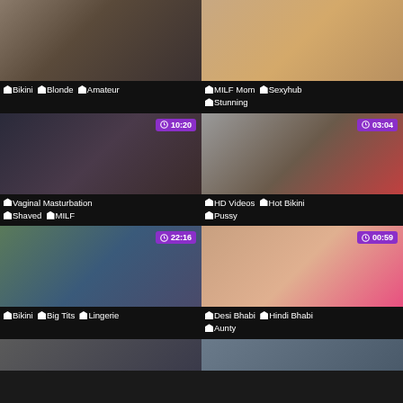[Figure (photo): Video thumbnail - outdoor scene with woman]
Bikini  Blonde  Amateur
[Figure (photo): Video thumbnail - two women on couch]
MILF Mom  Sexyhub  Stunning
[Figure (photo): Video thumbnail 10:20 - Vaginal Masturbation]
Vaginal Masturbation  Shaved  MILF
[Figure (photo): Video thumbnail 03:04 - HD Videos Hot Bikini]
HD Videos  Hot Bikini  Pussy
[Figure (photo): Video thumbnail 22:16 - Bikini Big Tits Lingerie]
Bikini  Big Tits  Lingerie
[Figure (photo): Video thumbnail 00:59 - Desi Bhabi Hindi Bhabi Aunty]
Desi Bhabi  Hindi Bhabi  Aunty
[Figure (photo): Video thumbnail - partial row bottom left]
[Figure (photo): Video thumbnail - partial row bottom right]